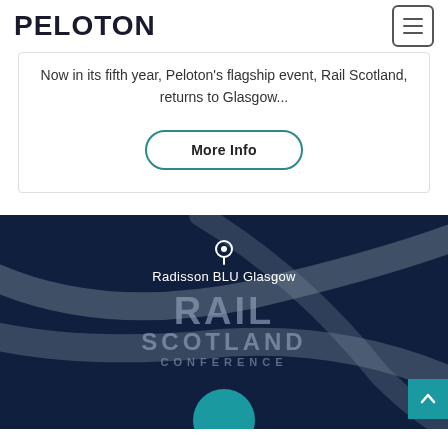PELOTON
Now in its fifth year, Peloton's flagship event, Rail Scotland, returns to Glasgow...
More Info
[Figure (illustration): Rail Scotland Conference banner on dark navy background with decorative swoosh lines. Shows a location pin icon, 'Radisson BLU Glasgow' text, and large stylized text reading 'RAIL SCOTLAND CONFERENCE' with a teal circle at the bottom.]